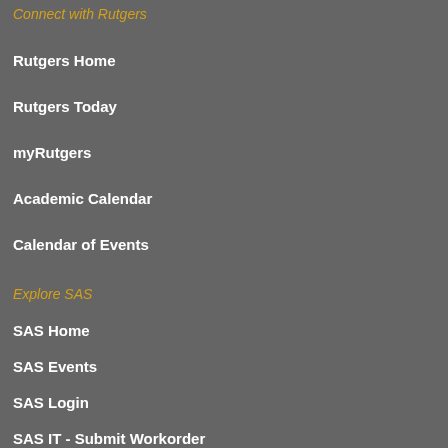Connect with Rutgers
Rutgers Home
Rutgers Today
myRutgers
Academic Calendar
Calendar of Events
Explore SAS
SAS Home
SAS Events
SAS Login
SAS IT - Submit Workorder
Follow Us
[Figure (logo): Social media icons: Facebook, Twitter, LinkedIn, YouTube]